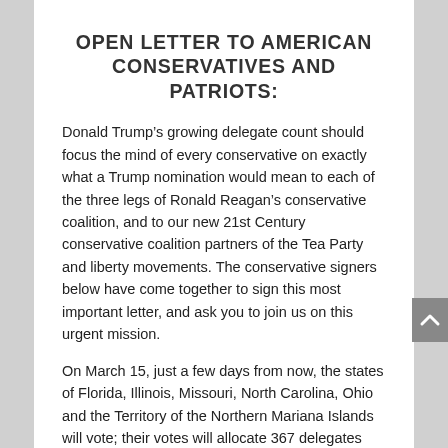OPEN LETTER TO AMERICAN CONSERVATIVES AND PATRIOTS:
Donald Trump's growing delegate count should focus the mind of every conservative on exactly what a Trump nomination would mean to each of the three legs of Ronald Reagan's conservative coalition, and to our new 21st Century conservative coalition partners of the Tea Party and liberty movements. The conservative signers below have come together to sign this most important letter, and ask you to join us on this urgent mission.
On March 15, just a few days from now, the states of Florida, Illinois, Missouri, North Carolina, Ohio and the Territory of the Northern Mariana Islands will vote; their votes will allocate 367 delegates and could put Donald